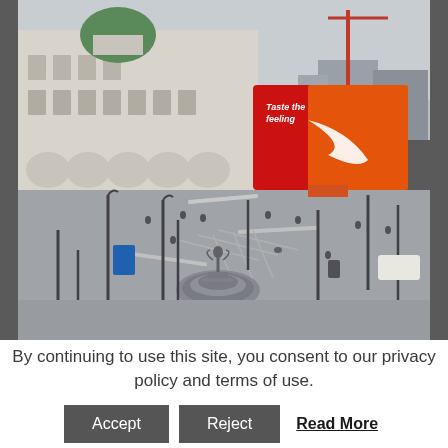[Figure (photo): Aerial view of Piccadilly Circus in London, showing the Shaftesbury Memorial Fountain (Eros statue) in the foreground, the curved neoclassical building with a green dome on the left, large illuminated Coca-Cola billboard ('Taste the Feeling') on the right, sparse pedestrians and street furniture, construction crane visible in background, overcast sky.]
By continuing to use this site, you consent to our privacy policy and terms of use.